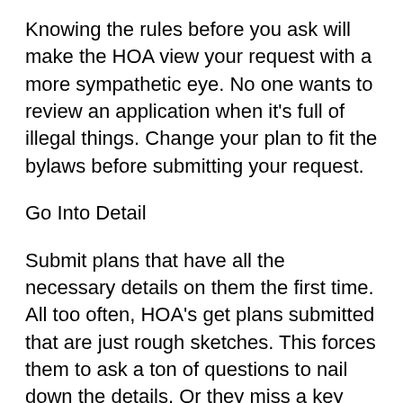Knowing the rules before you ask will make the HOA view your request with a more sympathetic eye. No one wants to review an application when it's full of illegal things. Change your plan to fit the bylaws before submitting your request.
Go Into Detail
Submit plans that have all the necessary details on them the first time. All too often, HOA's get plans submitted that are just rough sketches. This forces them to ask a ton of questions to nail down the details. Or they miss a key detail, and that becomes a problem after the fence is built.
Include all the details: the height, materials, and the blueprints of the layout. Include exact